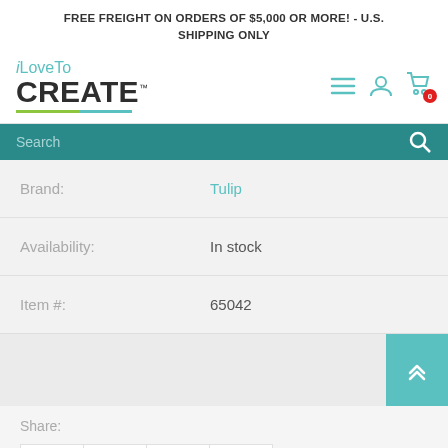FREE FREIGHT ON ORDERS OF $5,000 OR MORE! - U.S. SHIPPING ONLY
[Figure (logo): iLoveTo CREATE logo with teal and green underline]
Search
| Label | Value |
| --- | --- |
| Brand: | Tulip |
| Availability: | In stock |
| Item #: | 65042 |
Share: